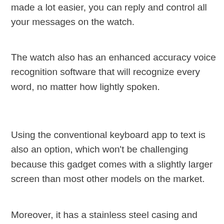made a lot easier, you can reply and control all your messages on the watch.
The watch also has an enhanced accuracy voice recognition software that will recognize every word, no matter how lightly spoken.
Using the conventional keyboard app to text is also an option, which won't be challenging because this gadget comes with a slightly larger screen than most other models on the market.
Moreover, it has a stainless steel casing and